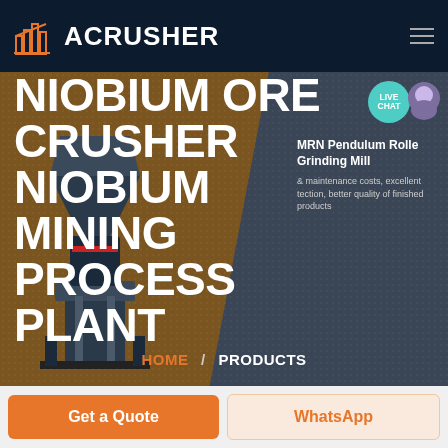ACRUSHER
NIOBIUM ORE CRUSHER NIOBIUM MINING PROCESS PLANT
[Figure (screenshot): Website screenshot showing ACRUSHER logo in dark navy header with orange building icon, large hero banner with industrial crusher machine image, big white bold title text NIOBIUM ORE CRUSHER NIOBIUM MINING PROCESS PLANT, side panel with MRN Pendulum Roller Mill product card, LIVE CHAT bubble, HOME / PRODUCTS breadcrumb, and bottom buttons Get a Quote and WhatsApp]
MRN Pendulum Rolle Grinding Mill
maintenance costs, excellent tection, better quality of finished products
HOME / PRODUCTS
Get a Quote
WhatsApp